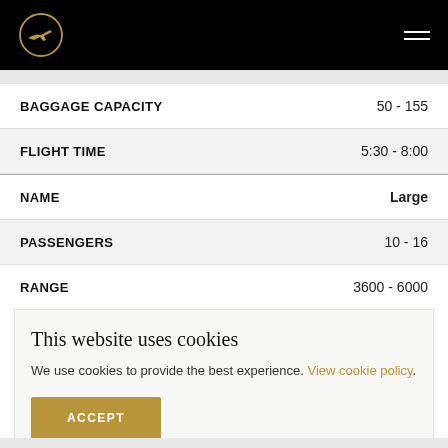Navigation header with airline logo and hamburger menu
| Field | Value |
| --- | --- |
| BAGGAGE CAPACITY | 50 - 155 |
| FLIGHT TIME | 5:30 - 8:00 |
| NAME | Large |
| PASSENGERS | 10 - 16 |
| RANGE | 3600 - 6000 |
This website uses cookies
We use cookies to provide the best experience. View cookie policy.
ACCEPT